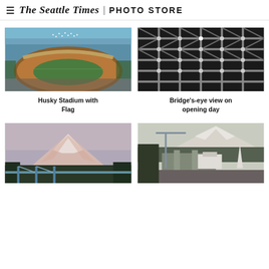The Seattle Times | PHOTO STORE
[Figure (photo): Aerial view of Husky Stadium with an American flag formation on the field, water and boats visible in background]
Husky Stadium with Flag
[Figure (photo): Bridge's-eye view looking down through steel bridge structure on opening day, black and white metallic grid pattern]
Bridge's-eye view on opening day
[Figure (photo): Mountain (likely Mount Rainier) with pink alpine glow at dusk, bridge structure visible in foreground]
[Figure (photo): Aerial view of construction site and stadium area with Mount Rainier visible in background, trees and buildings visible]